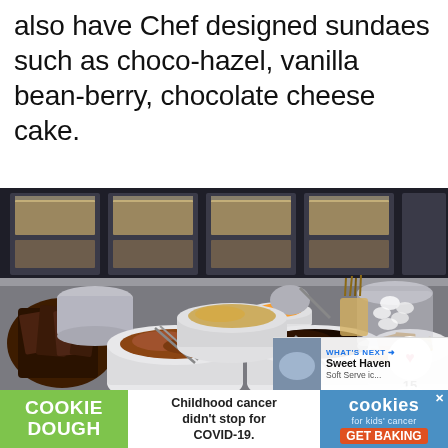also have Chef designed sundaes such as choco-hazel, vanilla bean-berry, chocolate cheese cake.
[Figure (photo): A sundae topping bar showing multiple white bowls filled with various toppings including chocolate pieces, crumbled toppings, and crackers, arranged on a stainless steel counter with dispensers and containers in the background. Social media UI elements visible: heart icon with count 15 and share icon.]
[Figure (photo): Advertisement banner: Cookie Dough brand ad with green left panel showing 'COOKIE DOUGH' text, middle panel with 'Childhood cancer didn't stop for COVID-19.' text, and right blue panel showing 'cookies for kids cancer GET BAKING' with cookie logo. Also shows 'WHAT'S NEXT → Sweet Haven Soft Serve ic...' overlay panel.]